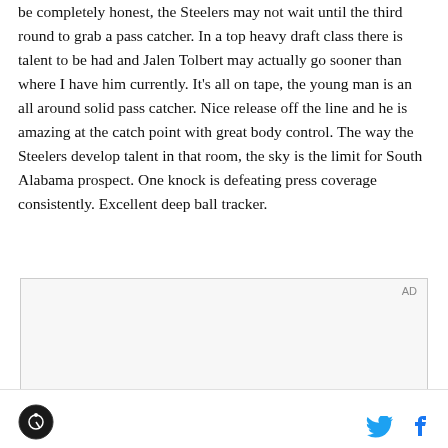be completely honest, the Steelers may not wait until the third round to grab a pass catcher. In a top heavy draft class there is talent to be had and Jalen Tolbert may actually go sooner than where I have him currently. It's all on tape, the young man is an all around solid pass catcher. Nice release off the line and he is amazing at the catch point with great body control. The way the Steelers develop talent in that room, the sky is the limit for South Alabama prospect. One knock is defeating press coverage consistently. Excellent deep ball tracker.
[Figure (other): Advertisement placeholder box with 'AD' label in top right corner and dark bar at bottom]
Site logo on left; Twitter and Facebook share icons on right